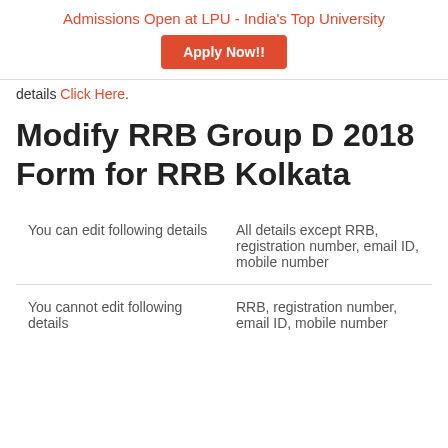Admissions Open at LPU - India's Top University
[Figure (other): Apply Now!! button in orange/red color]
details Click Here.
Modify RRB Group D 2018 Form for RRB Kolkata
| You can edit following details | All details except RRB, registration number, email ID, mobile number |
| You cannot edit following details | RRB, registration number, email ID, mobile number |